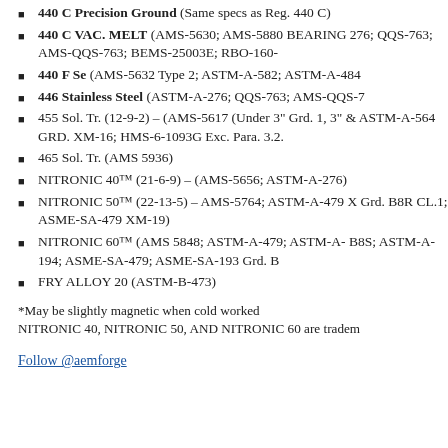440 C Precision Ground (Same specs as Reg. 440 C)
440 C VAC. MELT (AMS-5630; AMS-5880 BEARING 276; QQS-763; AMS-QQS-763; BEMS-25003E; RBO-160-
440 F Se (AMS-5632 Type 2; ASTM-A-582; ASTM-A-484
446 Stainless Steel (ASTM-A-276; QQS-763; AMS-QQS-7
455 Sol. Tr. (12-9-2) – (AMS-5617 (Under 3" Grd. 1, 3" & ASTM-A-564 GRD. XM-16; HMS-6-1093G Exc. Para. 3.2.
465 Sol. Tr. (AMS 5936)
NITRONIC 40™ (21-6-9) – (AMS-5656; ASTM-A-276)
NITRONIC 50™ (22-13-5) – AMS-5764; ASTM-A-479 X Grd. B8R CL.1; ASME-SA-479 XM-19)
NITRONIC 60™ (AMS 5848; ASTM-A-479; ASTM-A- B8S; ASTM-A-194; ASME-SA-479; ASME-SA-193 Grd. B
FRY ALLOY 20 (ASTM-B-473)
*May be slightly magnetic when cold worked
NITRONIC 40, NITRONIC 50, AND NITRONIC 60 are tradem
Follow @aemforge